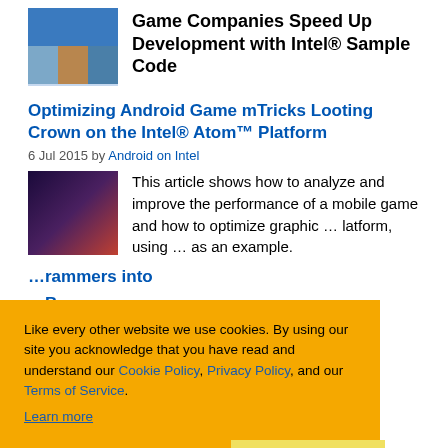Game Companies Speed Up Development with Intel® Sample Code
Optimizing Android Game mTricks Looting Crown on the Intel® Atom™ Platform
6 Jul 2015 by Android on Intel
This article shows how to analyze and improve the performance of a mobile game and how to optimize graphic … platform, using … as an example.
… rammers into
… Beacon
Like every other website we use cookies. By using our site you acknowledge that you have read and understand our Cookie Policy, Privacy Policy, and our Terms of Service.
Learn more
Ask me later
Decline
Allow cookies